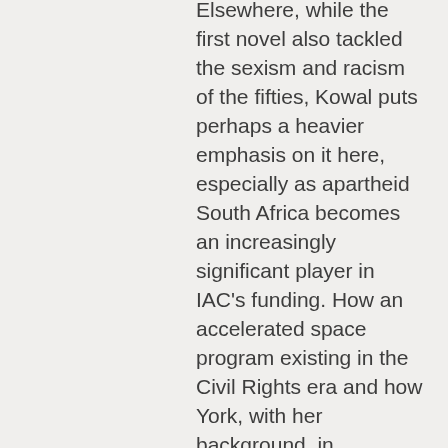Elsewhere, while the first novel also tackled the sexism and racism of the fifties, Kowal puts perhaps a heavier emphasis on it here, especially as apartheid South Africa becomes an increasingly significant player in IAC's funding. How an accelerated space program existing in the Civil Rights era and how York, with her background, in particular, deals with those issues makes for some of the novel's most thoughtful reading. Together, they also add a human aspect often missing from discussions (factual and fictional) of spaceflight and its role in society.
Like its predecessor, The Fated Sky is part of a sub-genre Kowal calls